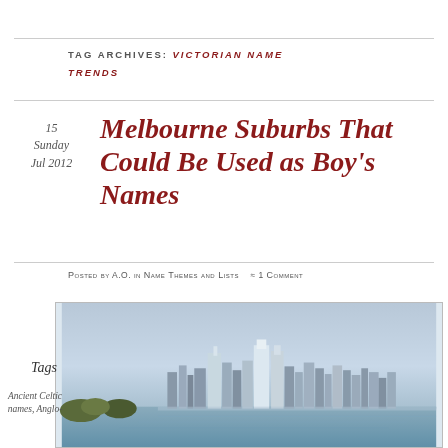TAG ARCHIVES: VICTORIAN NAME TRENDS
Melbourne Suburbs That Could Be Used as Boy's Names
15 Sunday Jul 2012
Posted by A.O. in Name Themes and Lists ≈ 1 Comment
[Figure (photo): Cityscape/skyline of Melbourne viewed from across a bay, with modern skyscrapers visible in the background and hazy sky above.]
Tags
Ancient Celtic names, Anglo-